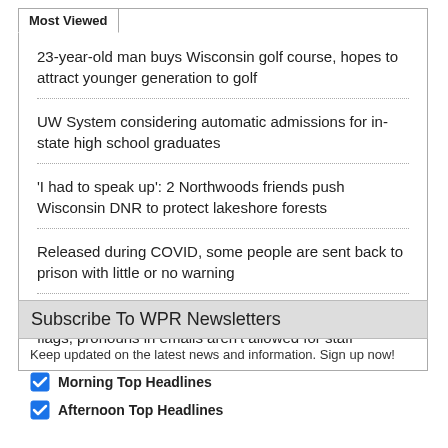Most Viewed
23-year-old man buys Wisconsin golf course, hopes to attract younger generation to golf
UW System considering automatic admissions for in-state high school graduates
'I had to speak up': 2 Northwoods friends push Wisconsin DNR to protect lakeshore forests
Released during COVID, some people are sent back to prison with little or no warning
Community outraged after school district says pride flags, pronouns in emails aren't allowed for staff
Subscribe To WPR Newsletters
Keep updated on the latest news and information. Sign up now!
Morning Top Headlines
Afternoon Top Headlines